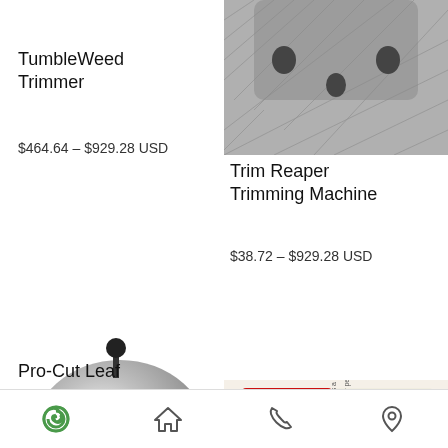[Figure (photo): Partial top view of a dark textured trimming machine (top of page, right column, cropped)]
TumbleWeed Trimmer
$464.64 – $929.28 USD
Trim Reaper Trimming Machine
$38.72 – $929.28 USD
[Figure (photo): Silver dome-shaped bowl trimmer machine with black knob handle]
[Figure (photo): Red and white package of DURA-STEEL SOLID-CUT PERFECT-CUT scissors, German text 'immer der perfekte Schnitt']
Pro-Cut Leaf
Navigation bar with home, phone, and location icons